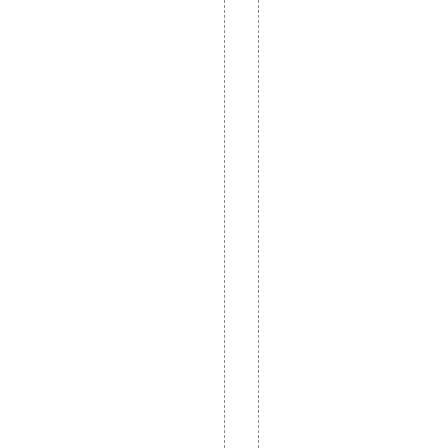Jandatripmeter that is at 430 miles